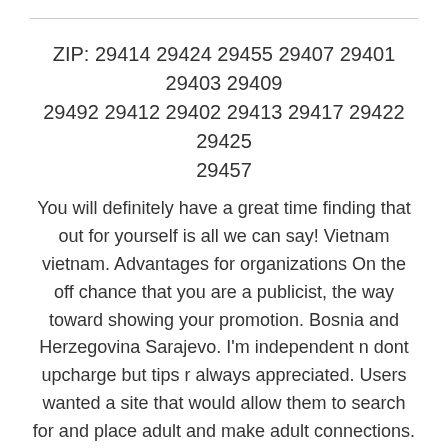ZIP: 29414 29424 29455 29407 29401 29403 29409 29492 29412 29402 29413 29417 29422 29425 29457
You will definitely have a great time finding that out for yourself is all we can say! Vietnam vietnam. Advantages for organizations On the off chance that you are a publicist, the way toward showing your promotion. Bosnia and Herzegovina Sarajevo. I'm independent n dont upcharge but tips r always appreciated. Users wanted a site that would allow them to search for and place adult and make adult connections. West Virginia charleston eastern panhandle huntington ashland morgantown northern